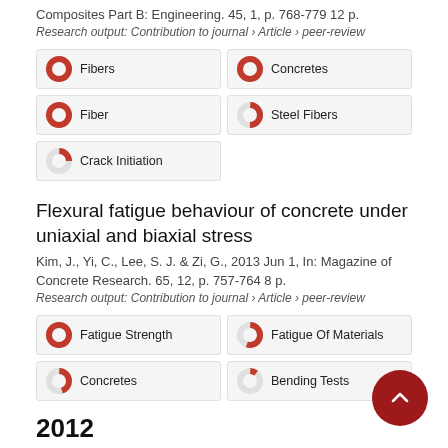Composites Part B: Engineering. 45, 1, p. 768-779 12 p.
Research output: Contribution to journal › Article › peer-review
Fibers (100%)
Concretes (100%)
Fiber (100%)
Steel Fibers (50%)
Crack Initiation (25%)
Flexural fatigue behaviour of concrete under uniaxial and biaxial stress
Kim, J., Yi, C., Lee, S. J. & Zi, G., 2013 Jun 1, In: Magazine of Concrete Research. 65, 12, p. 757-764 8 p.
Research output: Contribution to journal › Article › peer-review
Fatigue Strength (100%)
Fatigue Of Materials (55%)
Concretes (45%)
Bending Tests (10%)
2012